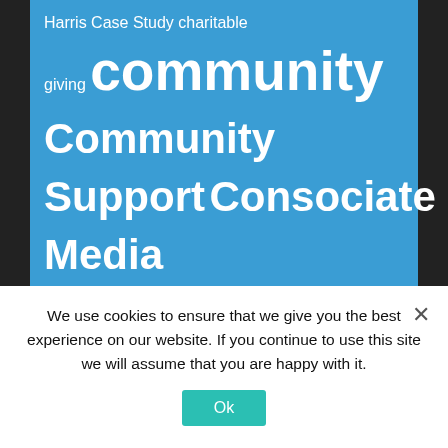[Figure (infographic): Tag cloud on blue background with various terms in different font sizes including community, Community Support, Consociate Media, Graphic Design, Habitat for Humanity, House that Small Business Built, Media Relations, Michael Kimball, Muscarelle, and others]
We use cookies to ensure that we give you the best experience on our website. If you continue to use this site we will assume that you are happy with it.